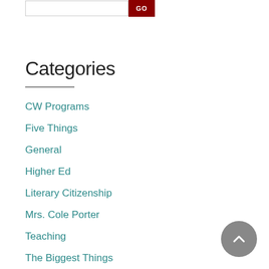Categories
CW Programs
Five Things
General
Higher Ed
Literary Citizenship
Mrs. Cole Porter
Teaching
The Biggest Things
The Circus in Winter
Writing